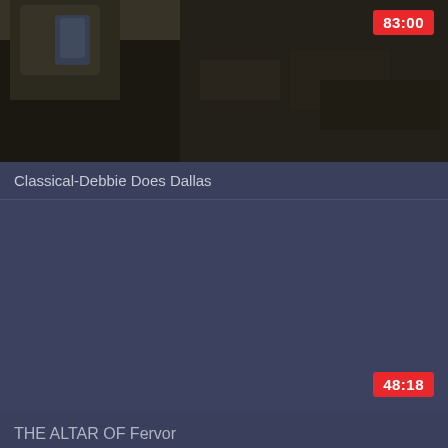[Figure (screenshot): Video thumbnail showing a scene inside or under a vehicle, dark tones with mechanical/interior elements visible. Duration badge showing 83:00 in red in top-right corner.]
Classical-Debbie Does Dallas
[Figure (screenshot): Video thumbnail, mostly dark navy/blue-grey solid color with no visible scene content. Duration badge showing 48:18 in red in bottom-right corner.]
THE ALTAR OF Fervor